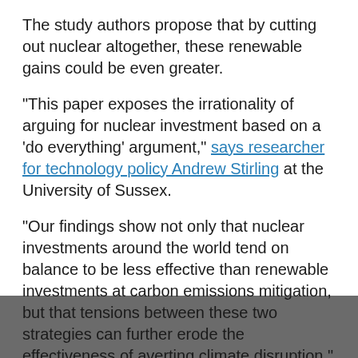The study authors propose that by cutting out nuclear altogether, these renewable gains could be even greater.
"This paper exposes the irrationality of arguing for nuclear investment based on a 'do everything' argument," says researcher for technology policy Andrew Stirling at the University of Sussex.
"Our findings show not only that nuclear investments around the world tend on balance to be less effective than renewable investments at carbon emissions mitigation, but that tensions between these two strategies can further erode the effectiveness of averting climate disruption."